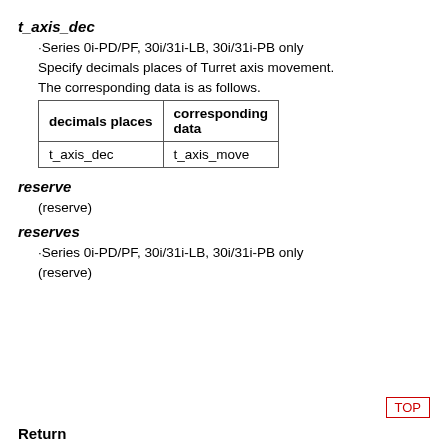t_axis_dec
·Series 0i-PD/PF, 30i/31i-LB, 30i/31i-PB only
Specify decimals places of Turret axis movement.
The corresponding data is as follows.
| decimals places | corresponding data |
| --- | --- |
| t_axis_dec | t_axis_move |
reserve
(reserve)
reserves
·Series 0i-PD/PF, 30i/31i-LB, 30i/31i-PB only
(reserve)
Return